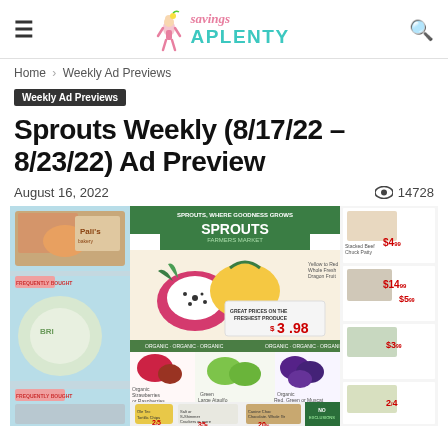savings APLENTY
Home › Weekly Ad Previews
Weekly Ad Previews
Sprouts Weekly (8/17/22 – 8/23/22) Ad Preview
August 16, 2022   👁 14728
[Figure (screenshot): Sprouts Farmers Market weekly ad preview showing produce deals including dragon fruit at $3.98, organic items, and various grocery products with prices]